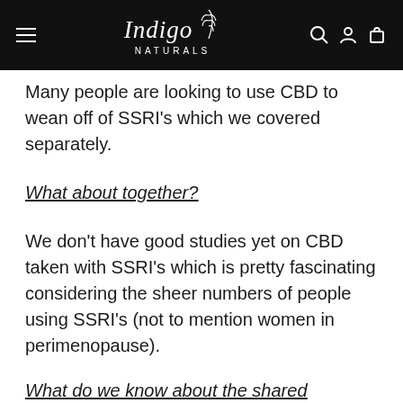Indigo Naturals
Many people are looking to use CBD to wean off of SSRI's which we covered separately.
What about together?
We don't have good studies yet on CBD taken with SSRI's which is pretty fascinating considering the sheer numbers of people using SSRI's (not to mention women in perimenopause).
What do we know about the shared pathways?